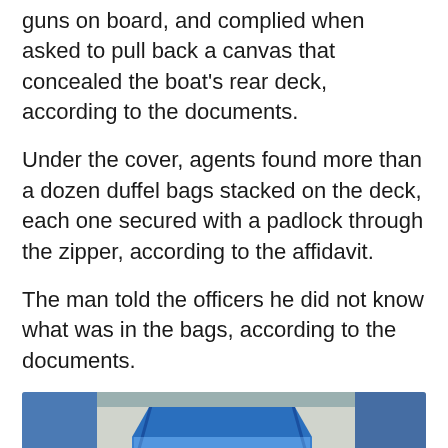guns on board, and complied when asked to pull back a canvas that concealed the boat's rear deck, according to the documents.
Under the cover, agents found more than a dozen duffel bags stacked on the deck, each one secured with a padlock through the zipper, according to the affidavit.
The man told the officers he did not know what was in the bags, according to the documents.
[Figure (photo): A boat with a blue canopy/canvas top, with multiple dark duffel bags piled on the interior deck and seats. The image appears to be a law enforcement evidence photo of the seized vessel.]